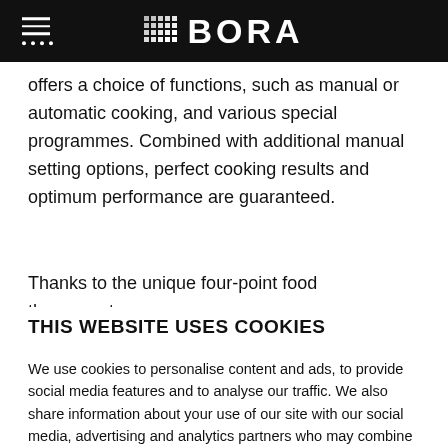BORA
offers a choice of functions, such as manual or automatic cooking, and various special programmes. Combined with additional manual setting options, perfect cooking results and optimum performance are guaranteed.
Thanks to the unique four-point food thermometer, you can reliably determine the ideal cooking temperature. Located at
THIS WEBSITE USES COOKIES
We use cookies to personalise content and ads, to provide social media features and to analyse our traffic. We also share information about your use of our site with our social media, advertising and analytics partners who may combine it with other information that you've provided to them or that they've collected from your use of their services.
Allow all cookies
Customise cookies and details